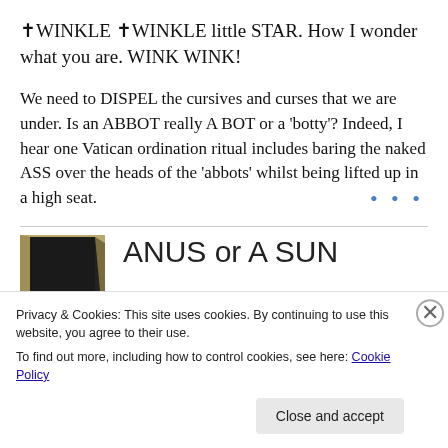✝WINKLE ✝WINKLE little STAR. How I wonder what you are. WINK WINK!
We need to DISPEL the cursives and curses that we are under. Is an ABBOT really A BOT or a 'botty'? Indeed, I hear one Vatican ordination ritual includes baring the naked ASS over the heads of the 'abbots' whilst being lifted up in a high seat.
[Figure (photo): Partial view of a book cover with dark background and gold/tan border]
ANUS or A SUN
Privacy & Cookies: This site uses cookies. By continuing to use this website, you agree to their use.
To find out more, including how to control cookies, see here: Cookie Policy